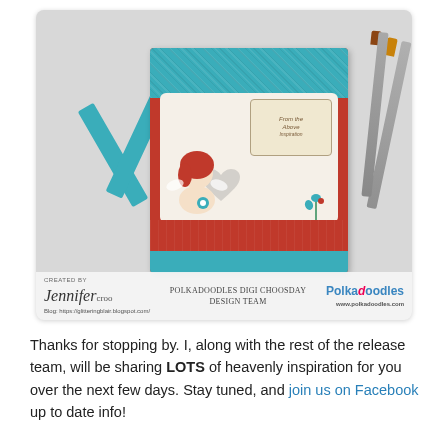[Figure (photo): A handmade greeting card craft project photo. Shows a red and teal patterned card with a girl illustration and 'From the Above' sentiment, teal ribbon strips, and Copic markers on a grey background. Bottom of photo has a watermark banner with 'Jennifer Croo' signature, 'Polkadoodles Digi Choosday Design Team', and Polkadoodles logo. Blog URL: https://glitteringblair.blogspot.com/]
Thanks for stopping by. I, along with the rest of the release team, will be sharing LOTS of heavenly inspiration for you over the next few days. Stay tuned, and join us on Facebook up to date info!